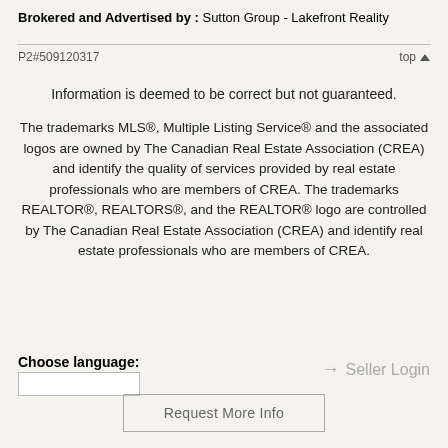Brokered and Advertised by : Sutton Group - Lakefront Reality
P2#509120317
Information is deemed to be correct but not guaranteed.
The trademarks MLS®, Multiple Listing Service® and the associated logos are owned by The Canadian Real Estate Association (CREA) and identify the quality of services provided by real estate professionals who are members of CREA. The trademarks REALTOR®, REALTORS®, and the REALTOR® logo are controlled by The Canadian Real Estate Association (CREA) and identify real estate professionals who are members of CREA.
Choose language:
Seller Login
Request More Info